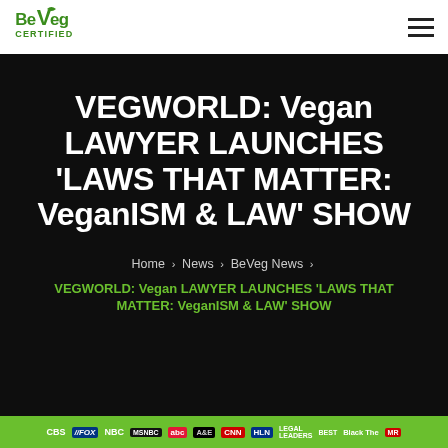BeVeg Certified
VEGWORLD: Vegan LAWYER LAUNCHES 'LAWS THAT MATTER: VeganISM & LAW' SHOW
Home > News > BeVeg News >
VEGWORLD: Vegan LAWYER LAUNCHES 'LAWS THAT MATTER: VeganISM & LAW' SHOW
CBS FOX NBC MSNBC abc A&E CNN HLN LEGAL LEADERS BEST Black The